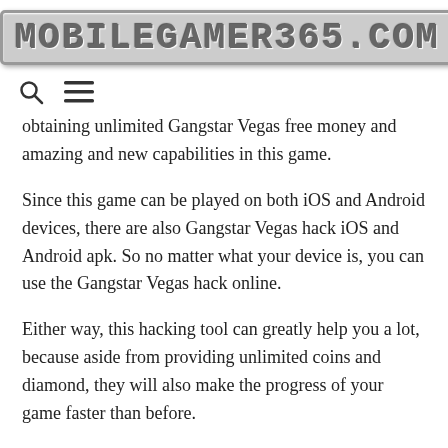MOBILEGAMER365.COM
[Figure (other): Search icon and hamburger menu icon navigation bar]
obtaining unlimited Gangstar Vegas free money and amazing and new capabilities in this game.
Since this game can be played on both iOS and Android devices, there are also Gangstar Vegas hack iOS and Android apk. So no matter what your device is, you can use the Gangstar Vegas hack online.
Either way, this hacking tool can greatly help you a lot, because aside from providing unlimited coins and diamond, they will also make the progress of your game faster than before.